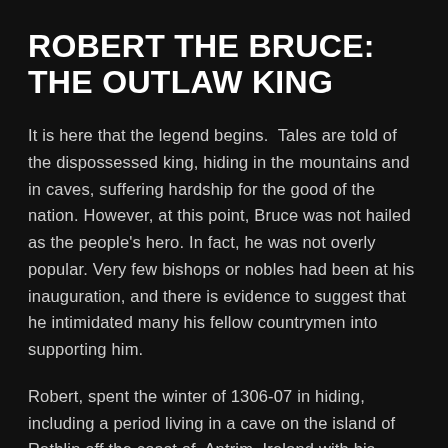ROBERT THE BRUCE: THE OUTLAW KING
It is here that the legend begins.  Tales are told of the dispossessed king, hiding in the mountains and in caves, suffering hardship for the good of the nation. However, at this point, Bruce was not hailed as the people's hero. In fact, he was not overly popular. Very few bishops or nobles had been at his inauguration, and there is evidence to suggest that he intimidated many his fellow countrymen into supporting him.
Robert, spent the winter of 1306-07 in hiding, including a period living in a cave on the island of Rathlin off the coast of  Antrim, Ireland with his brother, Edward.  According to local folklore it is here